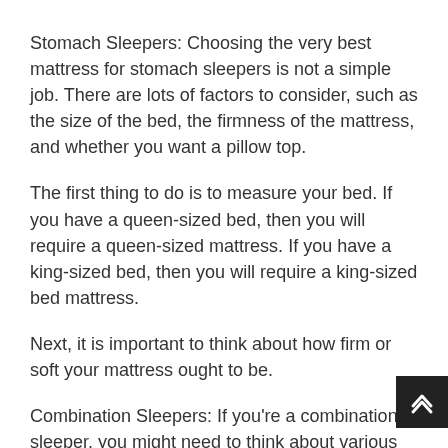Stomach Sleepers: Choosing the very best mattress for stomach sleepers is not a simple job. There are lots of factors to consider, such as the size of the bed, the firmness of the mattress, and whether you want a pillow top.
The first thing to do is to measure your bed. If you have a queen-sized bed, then you will require a queen-sized mattress. If you have a king-sized bed, then you will require a king-sized bed mattress.
Next, it is important to think about how firm or soft your mattress ought to be.
Combination Sleepers: If you're a combination sleeper, you might need to think about various aspects than someone who sleeps on their back or stomach.